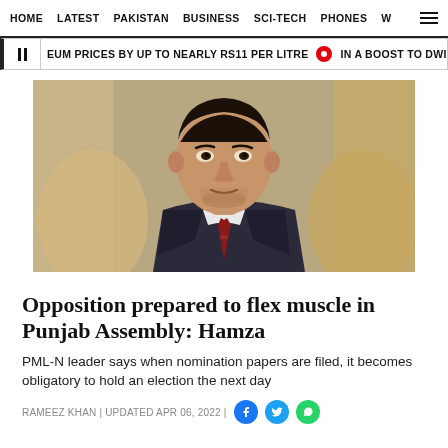HOME  LATEST  PAKISTAN  BUSINESS  SCI-TECH  PHONES  W
EUM PRICES BY UP TO NEARLY RS11 PER LITRE  •  IN A BOOST TO DWINDLING FOR
[Figure (photo): Portrait photo of a man in a dark suit and tie, seated in a chair, looking at the camera.]
Opposition prepared to flex muscle in Punjab Assembly: Hamza
PML-N leader says when nomination papers are filed, it becomes obligatory to hold an election the next day
RAMEEZ KHAN | UPDATED APR 06, 2022 |